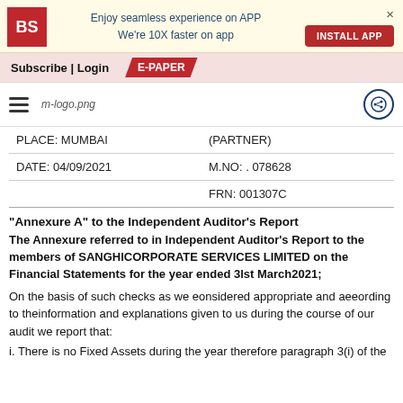[Figure (screenshot): Business Standard app promotional banner with BS logo, text 'Enjoy seamless experience on APP We're 10X faster on app', INSTALL APP button, and close X]
Subscribe | Login   E-PAPER
[Figure (logo): Hamburger menu icon, m-logo.png, and share icon in navigation bar]
| PLACE: MUMBAI | (PARTNER) |
| DATE: 04/09/2021 | M.NO: . 078628 |
|  | FRN: 001307C |
"Annexure A" to the Independent Auditor's Report
The Annexure referred to in Independent Auditor's Report to the members of SANGHICORPORATE SERVICES LIMITED on the Financial Statements for the year ended 31st March2021;
On the basis of such checks as we eonsidered appropriate and aeeording to theinformation and explanations given to us during the course of our audit we report that:
i. There is no Fixed Assets during the year therefore paragraph 3(i) of the